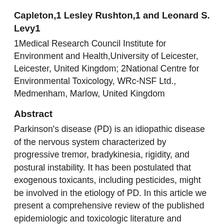Capleton,1 Lesley Rushton,1 and Leonard S. Levy1
1Medical Research Council Institute for Environment and Health,University of Leicester, Leicester, United Kingdom; 2National Centre for Environmental Toxicology, WRc-NSF Ltd., Medmenham, Marlow, United Kingdom
Abstract
Parkinson's disease (PD) is an idiopathic disease of the nervous system characterized by progressive tremor, bradykinesia, rigidity, and postural instability. It has been postulated that exogenous toxicants, including pesticides, might be involved in the etiology of PD. In this article we present a comprehensive review of the published epidemiologic and toxicologic literature and critically evaluate whether a relationship exists between pesticide exposure and PD. From the epidemiologic literature, there does appear to be a relatively consistent relationship between pesticide exposure and PD. This relationship appears strongest for exposure to herbicides and